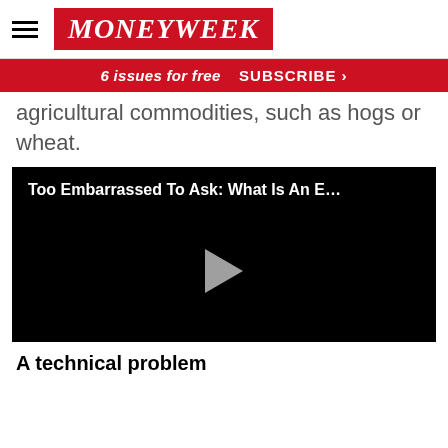MoneyWeek
6 issues for free  SUBSCRIBE >
agricultural commodities, such as hogs or wheat.
[Figure (screenshot): Video player with title 'Too Embarrassed To Ask: What Is An E...' on a black background with a play button in the center]
A technical problem